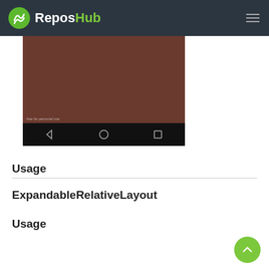ReposHub
[Figure (screenshot): Android phone screen showing a brownish-red background with the Android navigation bar (back, home, recent apps) at the bottom on a black bar. Watermark text 'free for personal use' visible.]
Usage
ExpandableRelativeLayout
Usage